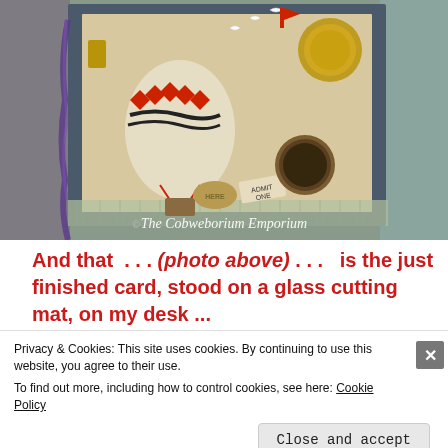[Figure (photo): A crafted handmade card stood on a glass cutting mat on a desk, with hot air balloon imagery, red decorative elements, birds, compass medallion, ticket stub, and ornate golden frame. Watermark: 'The Cobweborium Emporium'.]
And that  . . . (photo above) . . .  is the just finished card, stood on a glass cutting mat, on my desk ...
Privacy & Cookies: This site uses cookies. By continuing to use this website, you agree to their use.
To find out more, including how to control cookies, see here: Cookie Policy
Close and accept